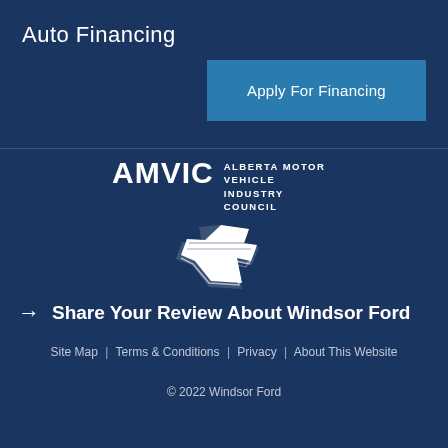Auto Financing
Apply For Financing
[Figure (logo): AMVIC - Alberta Motor Vehicle Industry Council logo with white stylized map shape and text]
→ Share Your Review About Windsor Ford
Site Map | Terms & Conditions | Privacy | About This Website
© 2022 Windsor Ford